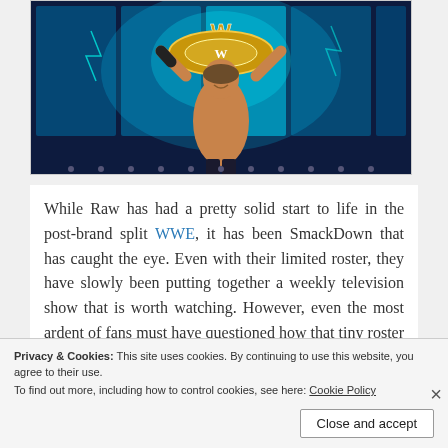[Figure (photo): A professional wrestler (AJ Styles) holding up the WWE Championship belt with both arms raised, standing in front of a blue LED/light display on a stage, shirtless with dark arm gear.]
While Raw has had a pretty solid start to life in the post-brand split WWE, it has been SmackDown that has caught the eye. Even with their limited roster, they have slowly been putting together a weekly television show that is worth watching. However, even the most ardent of fans must have questioned how that tiny roster would manage when asked to carry a PPV by themselves.
Privacy & Cookies: This site uses cookies. By continuing to use this website, you agree to their use.
To find out more, including how to control cookies, see here: Cookie Policy
Close and accept